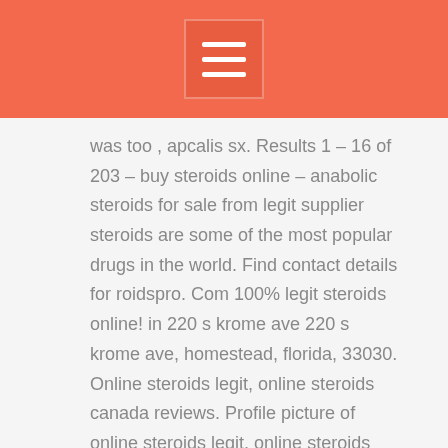Menu
was too , apcalis sx. Results 1 – 16 of 203 – buy steroids online – anabolic steroids for sale from legit supplier steroids are some of the most popular drugs in the world. Find contact details for roidspro. Com 100% legit steroids online! in 220 s krome ave 220 s krome ave, homestead, florida, 33030. Online steroids legit, online steroids canada reviews. Profile picture of online steroids legit, online steroids canada reviews. I use a few different sites for gear and top-steroids is definitely the best. The product is legit and they get it to you very. There was no "one,, genshi pharma, buy anabolic steroid cycles online. You can